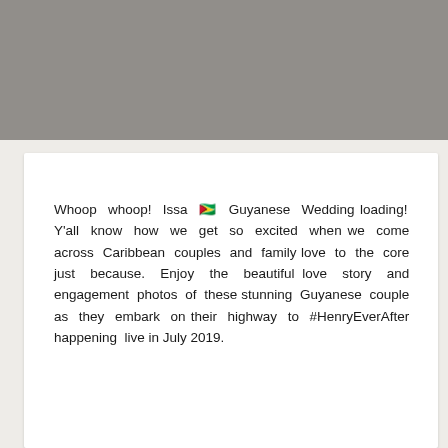Whoop whoop! Issa 🇬🇾 Guyanese Wedding loading! Y'all know how we get so excited when we come across Caribbean couples and family love to the core just because. Enjoy the beautiful love story and engagement photos of these stunning Guyanese couple as they embark on their highway to #HenryEverAfter happening live in July 2019.
[Figure (photo): Broken image thumbnail with caption: Beautiful 🇬🇾 Guyanese Couple Enjoying the Highway to #HenryEverAfter2019 Wedding]